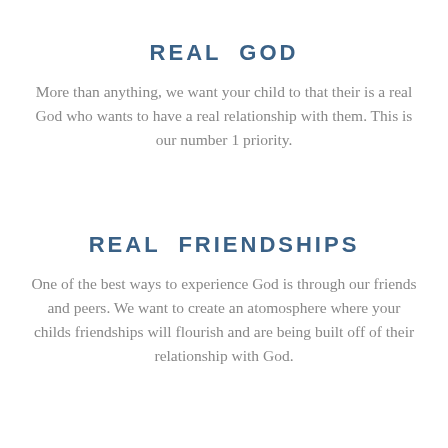REAL GOD
More than anything, we want your child to that their is a real God who wants to have a real relationship with them. This is our number 1 priority.
REAL FRIENDSHIPS
One of the best ways to experience God is through our friends and peers. We want to create an atomosphere where your childs friendships will flourish and are being built off of their relationship with God.